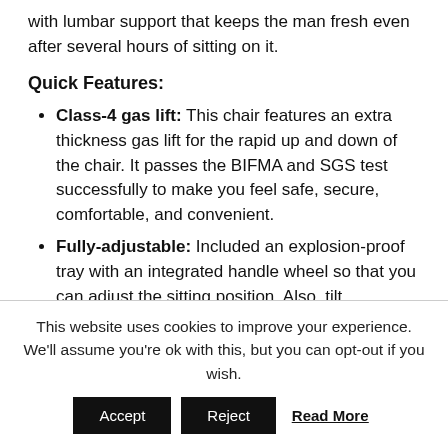with lumbar support that keeps the man fresh even after several hours of sitting on it.
Quick Features:
Class-4 gas lift: This chair features an extra thickness gas lift for the rapid up and down of the chair. It passes the BIFMA and SGS test successfully to make you feel safe, secure, comfortable, and convenient.
Fully-adjustable: Included an explosion-proof tray with an integrated handle wheel so that you can adjust the sitting position. Also, tilt
This website uses cookies to improve your experience. We'll assume you're ok with this, but you can opt-out if you wish.
Accept  Reject  Read More